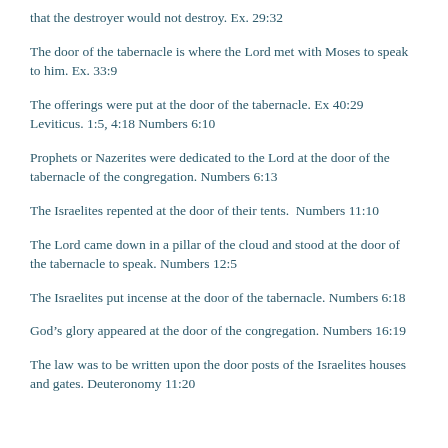that the destroyer would not destroy. Ex. 29:32
The door of the tabernacle is where the Lord met with Moses to speak to him. Ex. 33:9
The offerings were put at the door of the tabernacle. Ex 40:29 Leviticus. 1:5, 4:18 Numbers 6:10
Prophets or Nazerites were dedicated to the Lord at the door of the tabernacle of the congregation. Numbers 6:13
The Israelites repented at the door of their tents.  Numbers 11:10
The Lord came down in a pillar of the cloud and stood at the door of the tabernacle to speak. Numbers 12:5
The Israelites put incense at the door of the tabernacle. Numbers 6:18
God’s glory appeared at the door of the congregation. Numbers 16:19
The law was to be written upon the door posts of the Israelites houses and gates. Deuteronomy 11:20